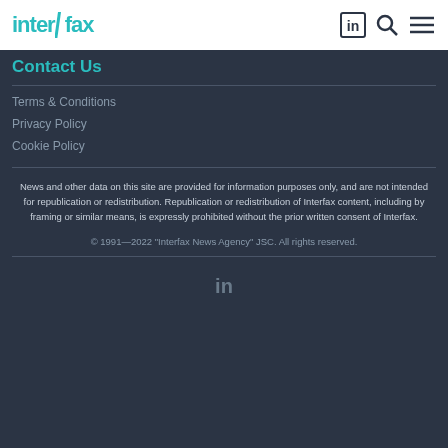Interfax [LinkedIn icon] [Search icon] [Menu icon]
Contact Us
Terms & Conditions
Privacy Policy
Cookie Policy
News and other data on this site are provided for information purposes only, and are not intended for republication or redistribution. Republication or redistribution of Interfax content, including by framing or similar means, is expressly prohibited without the prior written consent of Interfax.
© 1991—2022 "Interfax News Agency" JSC. All rights reserved.
[Figure (logo): LinkedIn icon at bottom center]